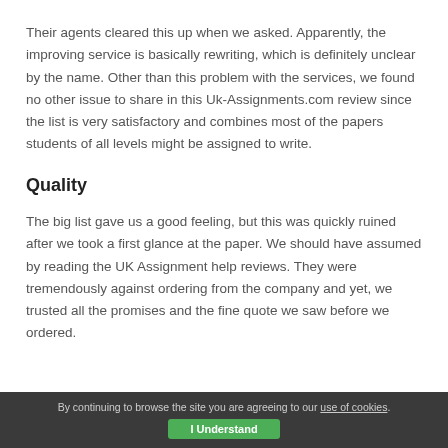Their agents cleared this up when we asked. Apparently, the improving service is basically rewriting, which is definitely unclear by the name. Other than this problem with the services, we found no other issue to share in this Uk-Assignments.com review since the list is very satisfactory and combines most of the papers students of all levels might be assigned to write.
Quality
The big list gave us a good feeling, but this was quickly ruined after we took a first glance at the paper. We should have assumed by reading the UK Assignment help reviews. They were tremendously against ordering from the company and yet, we trusted all the promises and the fine quote we saw before we ordered.
By continuing to browse the site you are agreeing to our use of cookies. I Understand